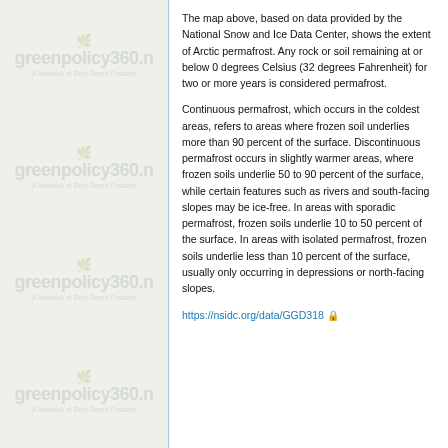[Figure (logo): greenpolicy360 watermark logos repeated four times on left panel background]
The map above, based on data provided by the National Snow and Ice Data Center, shows the extent of Arctic permafrost. Any rock or soil remaining at or below 0 degrees Celsius (32 degrees Fahrenheit) for two or more years is considered permafrost.
Continuous permafrost, which occurs in the coldest areas, refers to areas where frozen soil underlies more than 90 percent of the surface. Discontinuous permafrost occurs in slightly warmer areas, where frozen soils underlie 50 to 90 percent of the surface, while certain features such as rivers and south-facing slopes may be ice-free. In areas with sporadic permafrost, frozen soils underlie 10 to 50 percent of the surface. In areas with isolated permafrost, frozen soils underlie less than 10 percent of the surface, usually only occurring in depressions or north-facing slopes.
https://nsidc.org/data/GGD318 🔒